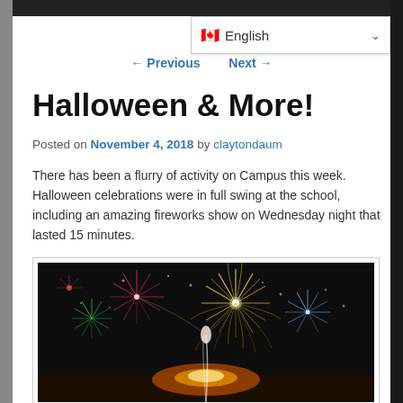English (language selector)
← Previous   Next →
Halloween & More!
Posted on November 4, 2018 by claytondaum
There has been a flurry of activity on Campus this week. Halloween celebrations were in full swing at the school, including an amazing fireworks show on Wednesday night that lasted 15 minutes.
[Figure (photo): Fireworks display photo showing colorful fireworks explosion against a dark night sky]